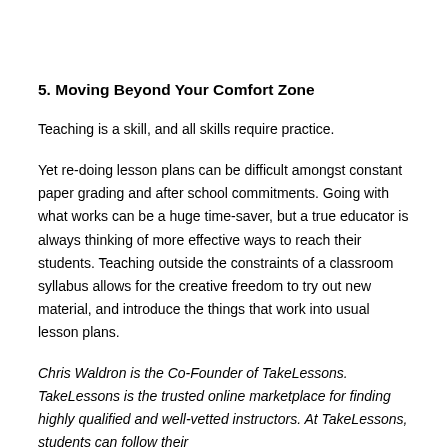5. Moving Beyond Your Comfort Zone
Teaching is a skill, and all skills require practice.
Yet re-doing lesson plans can be difficult amongst constant paper grading and after school commitments. Going with what works can be a huge time-saver, but a true educator is always thinking of more effective ways to reach their students. Teaching outside the constraints of a classroom syllabus allows for the creative freedom to try out new material, and introduce the things that work into usual lesson plans.
Chris Waldron is the Co-Founder of TakeLessons. TakeLessons is the trusted online marketplace for finding highly qualified and well-vetted instructors. At TakeLessons, students can follow their